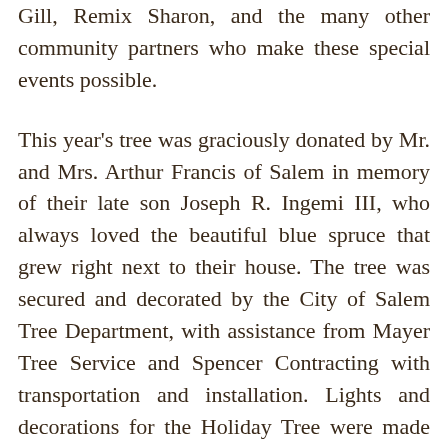Gill, Remix Sharon, and the many other community partners who make these special events possible.
This year's tree was graciously donated by Mr. and Mrs. Arthur Francis of Salem in memory of their late son Joseph R. Ingemi III, who always loved the beautiful blue spruce that grew right next to their house. The tree was secured and decorated by the City of Salem Tree Department, with assistance from Mayer Tree Service and Spencer Contracting with transportation and installation. Lights and decorations for the Holiday Tree were made possible by individual contributions and donations from a